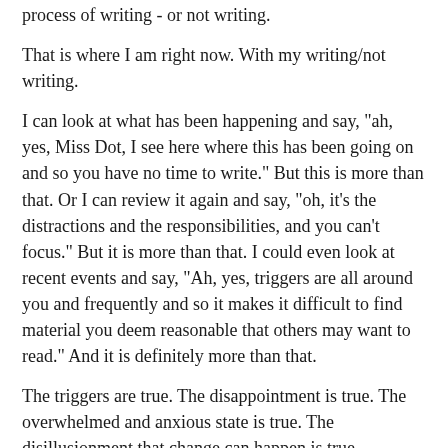process of writing - or not writing.
That is where I am right now. With my writing/not writing.
I can look at what has been happening and say, "ah, yes, Miss Dot, I see here where this has been going on and so you have no time to write." But this is more than that. Or I can review it again and say, "oh, it's the distractions and the responsibilities, and you can't focus." But it is more than that. I could even look at recent events and say, "Ah, yes, triggers are all around you and frequently and so it makes it difficult to find material you deem reasonable that others may want to read." And it is definitely more than that.
The triggers are true. The disappointment is true. The overwhelmed and anxious state is true. The disillusionment that change can happen is true.
That I'm blocked and having nothing to write about is not true. Ideas are there. I still jot a few notes, send emails to my secret saving writing ideas email folder, observe people and place around me and think of titles.